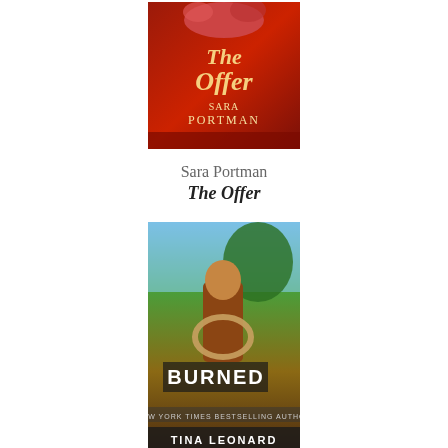[Figure (photo): Book cover of 'The Offer' by Sara Portman — red background with cursive title text and author name]
Sara Portman
The Offer
[Figure (photo): Book cover of 'Burned By a Kiss' by Tina Leonard — man with rope in outdoor setting, text 'BURNED' and 'TINA LEONARD']
Tina Leonard
Burned By a Kiss
[Figure (photo): Partial book cover with green/teal tones, partially visible at bottom of page]